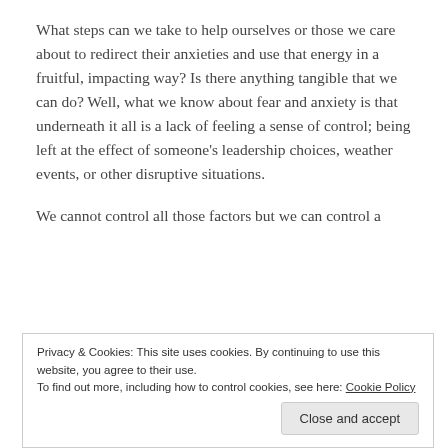What steps can we take to help ourselves or those we care about to redirect their anxieties and use that energy in a fruitful, impacting way? Is there anything tangible that we can do? Well, what we know about fear and anxiety is that underneath it all is a lack of feeling a sense of control; being left at the effect of someone's leadership choices, weather events, or other disruptive situations.
We cannot control all those factors but we can control a
Privacy & Cookies: This site uses cookies. By continuing to use this website, you agree to their use.
To find out more, including how to control cookies, see here: Cookie Policy